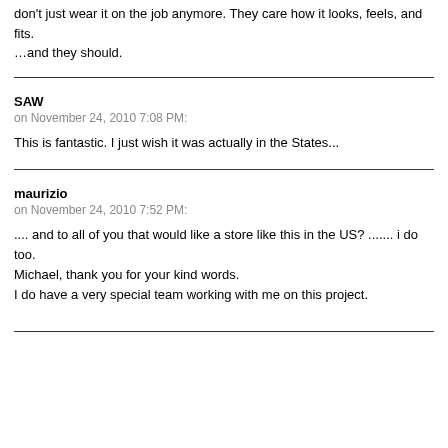don't just wear it on the job anymore. They care how it looks, feels, and fits.
…and they should.
SAW
on November 24, 2010 7:08 PM:
This is fantastic. I just wish it was actually in the States...
maurizio
on November 24, 2010 7:52 PM:
.... and to all of you that would like a store like this in the US? ....... i do too.
Michael, thank you for your kind words.
I do have a very special team working with me on this project.